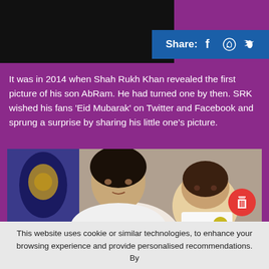[Figure (photo): Top black header image area with Share button overlay showing Facebook, WhatsApp, Twitter icons]
It was in 2014 when Shah Rukh Khan revealed the first picture of his son AbRam. He had turned one by then. SRK wished his fans 'Eid Mubarak' on Twitter and Facebook and sprung a surprise by sharing his little one's picture.
[Figure (photo): Photo of Shah Rukh Khan holding young son AbRam at a KKR event, with decorative flag in background]
This website uses cookie or similar technologies, to enhance your browsing experience and provide personalised recommendations. By